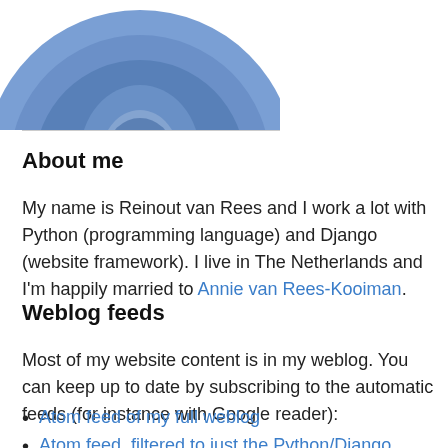[Figure (illustration): Partial view of a blue circular profile/avatar icon with shield-like layered design, cropped at top of page]
About me
My name is Reinout van Rees and I work a lot with Python (programming language) and Django (website framework). I live in The Netherlands and I'm happily married to Annie van Rees-Kooiman.
Weblog feeds
Most of my website content is in my weblog. You can keep up to date by subscribing to the automatic feeds (for instance with Google reader):
Atom feed of my full weblog
Atom feed, filtered to just the Python/Django